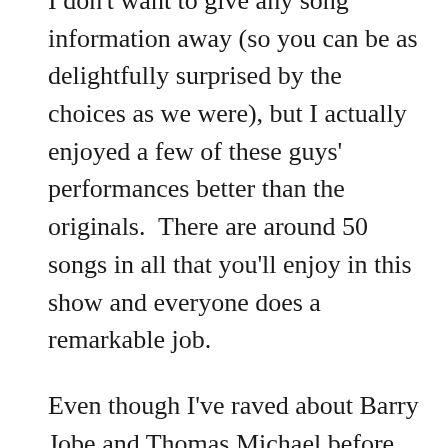I don't want to give any song information away (so you can be as delightfully surprised by the choices as we were), but I actually enjoyed a few of these guys' performances better than the originals.  There are around 50 songs in all that you'll enjoy in this show and everyone does a remarkable job.
Even though I've raved about Barry Jobe and Thomas Michael before on Genuine Kentucky, I will say this:  They were born to sing  Country Outlaw music. They're always fantastic, but they redefined the word with their performances in this